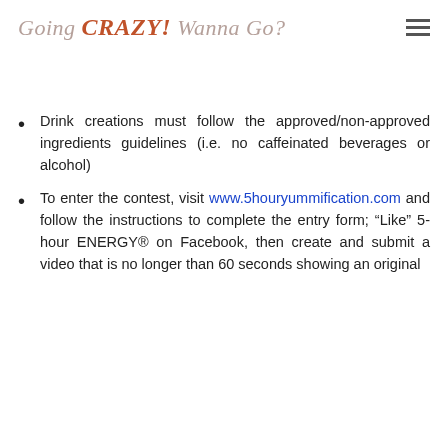Going CRAZY! Wanna Go?
Drink creations must follow the approved/non-approved ingredients guidelines (i.e. no caffeinated beverages or alcohol)
To enter the contest, visit www.5houryummification.com and follow the instructions to complete the entry form; “Like” 5-hour ENERGY® on Facebook, then create and submit a video that is no longer than 60 seconds showing an original